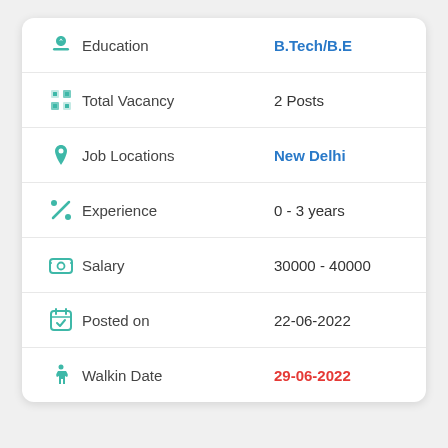| Field | Value |
| --- | --- |
| Education | B.Tech/B.E |
| Total Vacancy | 2 Posts |
| Job Locations | New Delhi |
| Experience | 0 - 3 years |
| Salary | 30000 - 40000 |
| Posted on | 22-06-2022 |
| Walkin Date | 29-06-2022 |